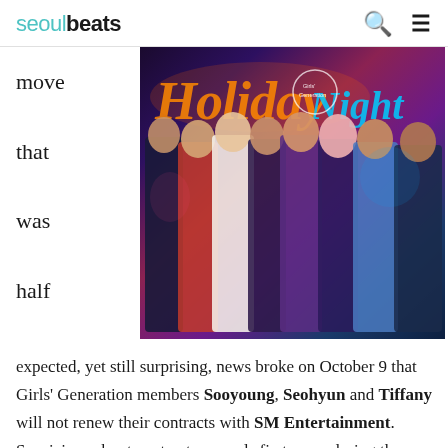seoulbeats
move that was half
[Figure (photo): Girls' Generation (SNSD) group photo promotional image for 'Holiday Night' album, showing the members posing together in front of neon signs.]
expected, yet still surprising, news broke on October 9 that Girls' Generation members Sooyoung, Seohyun and Tiffany will not renew their contracts with SM Entertainment. Suspicions about contract renewals first arose during the group's tenth anniversary comeback, followed by the announcement